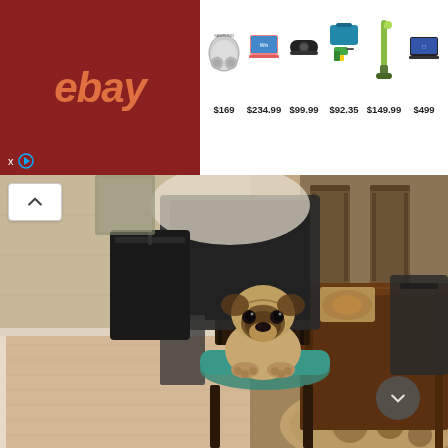[Figure (screenshot): eBay advertisement banner showing 6 products with prices: wireless earbuds $169, laptop $234.99, Bluetooth speaker $99.99, power drill kit $92.35, vacuum cleaner $149.99, laptop $499]
[Figure (photo): Photo of a pug dog sitting on a teal cushioned dining chair at a dark brown wooden dining table in a home interior. Clothes and items draped over chairs, hardwood floor, floral rug visible.]